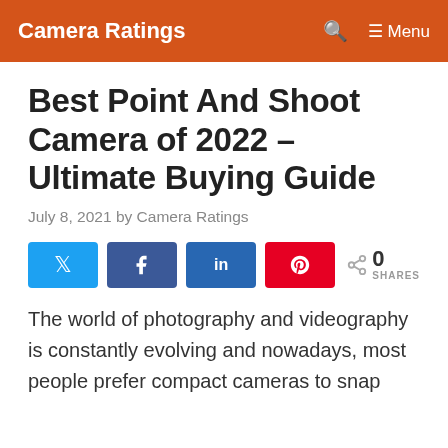Camera Ratings  🔍  ☰ Menu
Best Point And Shoot Camera of 2022 – Ultimate Buying Guide
July 8, 2021 by Camera Ratings
[Figure (infographic): Social share buttons: Twitter, Facebook, LinkedIn, Pinterest, and a share count showing 0 SHARES]
The world of photography and videography is constantly evolving and nowadays, most people prefer compact cameras to snap